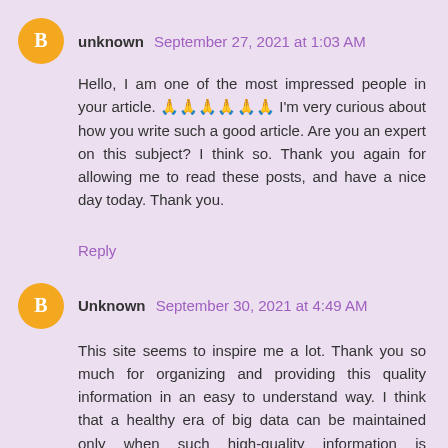unknown  September 27, 2021 at 1:03 AM
Hello, I am one of the most impressed people in your article. 🙏🙏🙏🙏🙏🙏 I'm very curious about how you write such a good article. Are you an expert on this subject? I think so. Thank you again for allowing me to read these posts, and have a nice day today. Thank you.
Reply
Unknown  September 30, 2021 at 4:49 AM
This site seems to inspire me a lot. Thank you so much for organizing and providing this quality information in an easy to understand way. I think that a healthy era of big data can be maintained only when such high-quality information is continuously produced. And I, too, are working hard to organize and provide such high-quality information. It would be nice to come in once and get information.